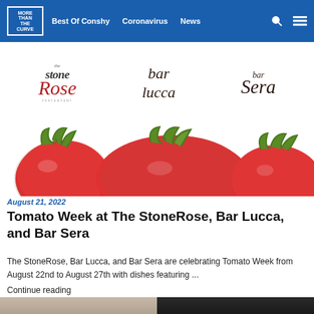More Than The Curve | Best Of Conshy | Coronavirus | News
[Figure (logo): Article featured image showing logos of The Stone Rose restaurant, bar lucca, and bar Sera above a photo of tomatoes]
August 21, 2022
Tomato Week at The StoneRose, Bar Lucca, and Bar Sera
The StoneRose, Bar Lucca, and Bar Sera are celebrating Tomato Week from August 22nd to August 27th with dishes featuring ...
Continue reading
[Figure (photo): Bottom portion of two photos of people, partially visible]